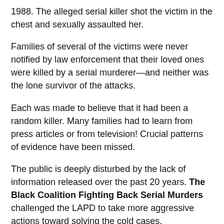1988. The alleged serial killer shot the victim in the chest and sexually assaulted her.
Families of several of the victims were never notified by law enforcement that their loved ones were killed by a serial murderer—and neither was the lone survivor of the attacks.
Each was made to believe that it had been a random killer. Many families had to learn from press articles or from television! Crucial patterns of evidence have been missed.
The public is deeply disturbed by the lack of information released over the past 20 years. The Black Coalition Fighting Back Serial Murders challenged the LAPD to take more aggressive actions toward solving the cold cases.